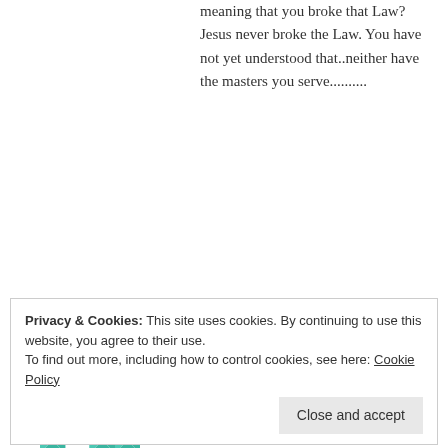meaning that you broke that Law? Jesus never broke the Law. You have not yet understood that..neither have the masters you serve..........
★ Like
Reply
[Figure (illustration): Avatar image with teal/mint geometric diamond quilt pattern for user JAH]
JAH
March 8, 2018 at 3:12 am
Privacy & Cookies: This site uses cookies. By continuing to use this website, you agree to their use.
To find out more, including how to control cookies, see here: Cookie Policy
Close and accept
American, Demonology, and many